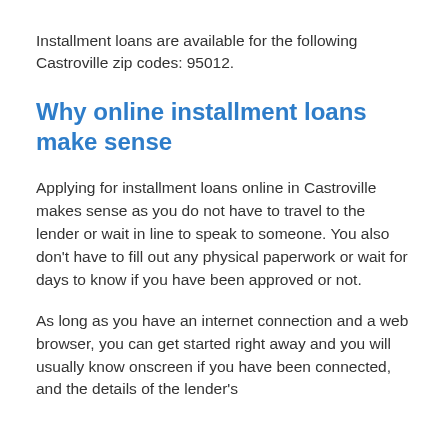Installment loans are available for the following Castroville zip codes: 95012.
Why online installment loans make sense
Applying for installment loans online in Castroville makes sense as you do not have to travel to the lender or wait in line to speak to someone. You also don't have to fill out any physical paperwork or wait for days to know if you have been approved or not.
As long as you have an internet connection and a web browser, you can get started right away and you will usually know onscreen if you have been connected, and the details of the lender's